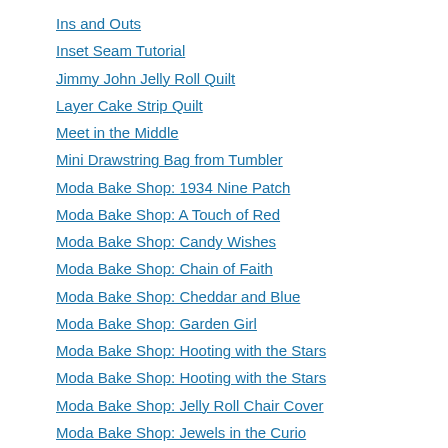Ins and Outs
Inset Seam Tutorial
Jimmy John Jelly Roll Quilt
Layer Cake Strip Quilt
Meet in the Middle
Mini Drawstring Bag from Tumbler
Moda Bake Shop: 1934 Nine Patch
Moda Bake Shop: A Touch of Red
Moda Bake Shop: Candy Wishes
Moda Bake Shop: Chain of Faith
Moda Bake Shop: Cheddar and Blue
Moda Bake Shop: Garden Girl
Moda Bake Shop: Hooting with the Stars
Moda Bake Shop: Hooting with the Stars
Moda Bake Shop: Jelly Roll Chair Cover
Moda Bake Shop: Jewels in the Curio
Moda Bake Shop: Neighbor Girl
Moda Bake Shop: Oink a Doodle Moo times 2 or 3
Moda Bake Shop: Peaks and Valleys